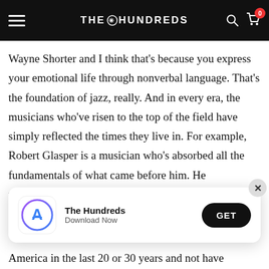THE HUNDREDS
Wayne Shorter and I think that's because you express your emotional life through nonverbal language. That's the foundation of jazz, really. And in every era, the musicians who've risen to the top of the field have simply reflected the times they live in. For example, Robert Glasper is a musician who's absorbed all the fundamentals of what came before him. He understands what Thelonious Monk did, he understands what Herbie Hancock did. But because
[Figure (screenshot): App download banner for 'The Hundreds' with app store icon, name, 'Download Now' subtitle, and a 'GET' button. A close (X) button is in the top right corner.]
America in the last 20 or 30 years and not have